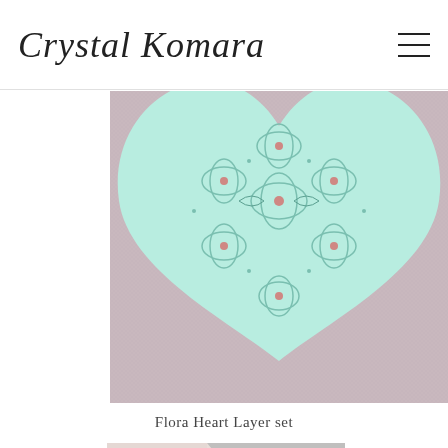Crystal Komara
[Figure (photo): Close-up photo of a mint/light blue die-cut heart with intricate floral lace pattern on a dusty pink textured cardstock background]
Flora Heart Layer set
[Figure (photo): Partial view of another craft project photo, showing light pink and gray geometric shapes]